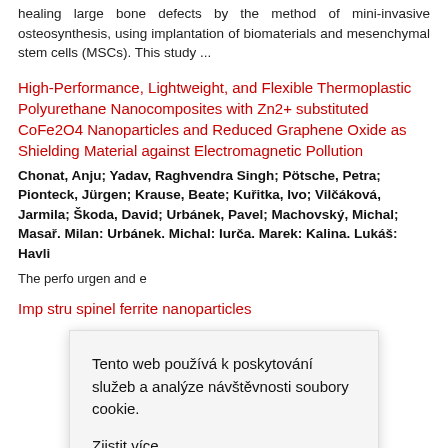healing large bone defects by the method of mini-invasive osteosynthesis, using implantation of biomaterials and mesenchymal stem cells (MSCs). This study ...
High-Performance, Lightweight, and Flexible Thermoplastic Polyurethane Nanocomposites with Zn2+ substituted CoFe2O4 Nanoparticles and Reduced Graphene Oxide as Shielding Material against Electromagnetic Pollution
Chonat, Anju; Yadav, Raghvendra Singh; Pötsche, Petra; Pionteck, Jürgen; Krause, Beate; Kuřitka, Ivo; Vilčáková, Jarmila; Škoda, David; Urbánek, Pavel; Machovský, Michal; Masař. Milan: Urbánek. Michal: Iurča. Marek: Kalina. Lukáš: Havli
The perfo urgen and e
Imp stru spinel ferrite nanoparticles
Tento web používá k poskytování služeb a analýze návštěvnosti soubory cookie. Zjistit více. OK